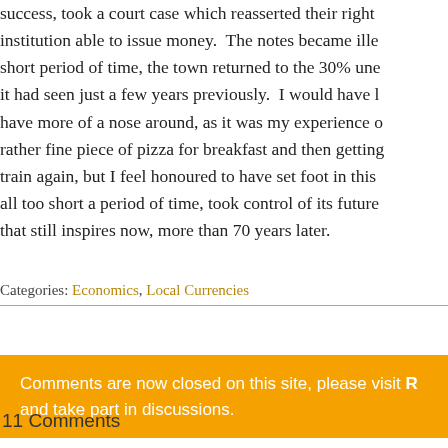success, took a court case which reasserted their right institution able to issue money. The notes became ille short period of time, the town returned to the 30% une it had seen just a few years previously. I would have l have more of a nose around, as it was my experience o rather fine piece of pizza for breakfast and then getting train again, but I feel honoured to have set foot in this all too short a period of time, took control of its future that still inspires now, more than 70 years later.
Categories: Economics, Local Currencies
Comments are now closed on this site, please visit R and take part in discussions.
11 Comments